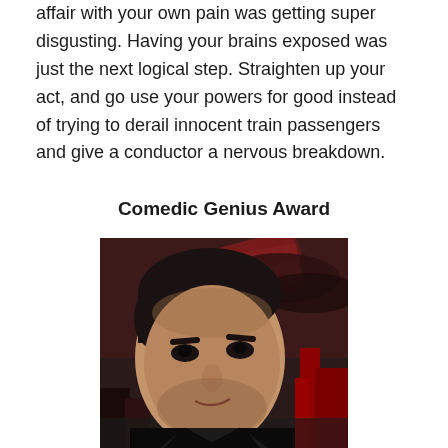affair with your own pain was getting super disgusting. Having your brains exposed was just the next logical step. Straighten up your act, and go use your powers for good instead of trying to derail innocent train passengers and give a conductor a nervous breakdown.
Comedic Genius Award
[Figure (photo): A dark-haired man in a black jacket looking intensely at the camera, with a dramatic red-tinted cityscape and motion-blurred background behind him.]